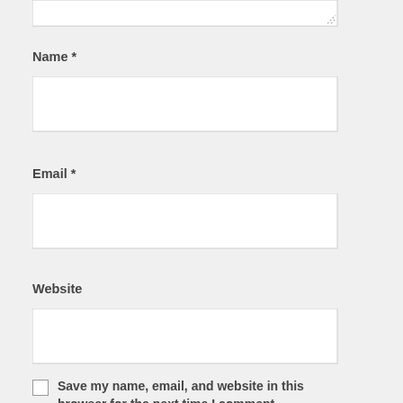[Figure (screenshot): Top portion of a textarea input field with a resize handle at bottom-right corner]
Name *
[Figure (screenshot): Empty text input field for Name]
Email *
[Figure (screenshot): Empty text input field for Email]
Website
[Figure (screenshot): Empty text input field for Website]
Save my name, email, and website in this browser for the next time I comment.